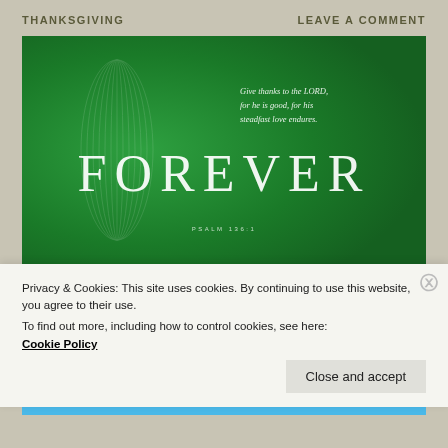THANKSGIVING    LEAVE A COMMENT
[Figure (illustration): Green banner image with large white serif text reading FOREVER, a verse quote 'Give thanks to the LORD, for he is good, for his steadfast love endures.' and reference 'PSALM 136:1' at the bottom center, decorative coil pattern on left side.]
Privacy & Cookies: This site uses cookies. By continuing to use this website, you agree to their use.
To find out more, including how to control cookies, see here:
Cookie Policy
Close and accept